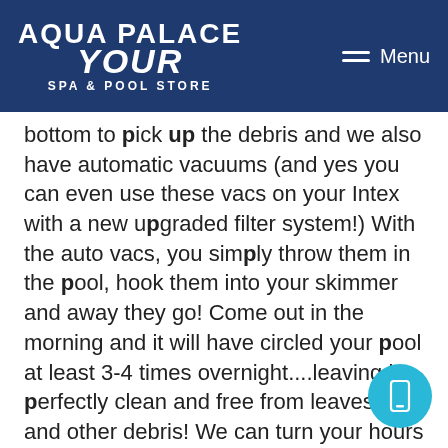AQUA PALACE YOUR SPA & POOL STORE | Menu
bottom to pick up the debris and we also have automatic vacuums (and yes you can even use these vacs on your Intex with a new upgraded filter system!) With the auto vacs, you simply throw them in the pool, hook them into your skimmer and away they go! Come out in the morning and it will have circled your pool at least 3-4 times overnight....leaving it perfectly clean and free from leaves, dirt and other debris! We can turn your hours of frustration trying to find a vac that you can